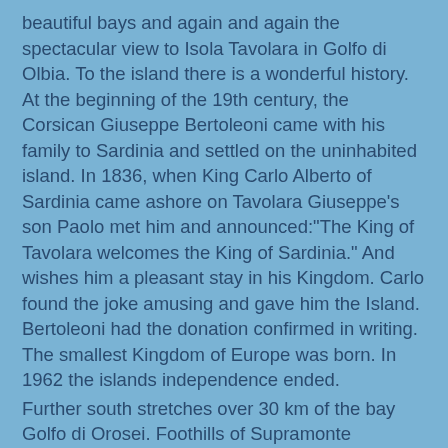beautiful bays and again and again the spectacular view to Isola Tavolara in Golfo di Olbia. To the island there is a wonderful history. At the beginning of the 19th century, the Corsican Giuseppe Bertoleoni came with his family to Sardinia and settled on the uninhabited island. In 1836, when King Carlo Alberto of Sardinia came ashore on Tavolara Giuseppe's son Paolo met him and announced:"The King of Tavolara welcomes the King of Sardinia." And wishes him a pleasant stay in his Kingdom. Carlo found the joke amusing and gave him the Island. Bertoleoni had the donation confirmed in writing. The smallest Kingdom of Europe was born. In 1962 the islands independence ended. Further south stretches over 30 km of the bay Golfo di Orosei. Foothills of Supramonte Mountains form a steep, high cliff and in the cliffs there are small bays, which can often only be reached by boat. Hippies used to live in caves, surrounded by white beaches and turquoise water. Tourism distributed sea seals, which are threatened with extinction. In order to give this habitat again, a large section was used as a nature reserve. But we have never seen so Manny excursen boats, rubber boats and boats of